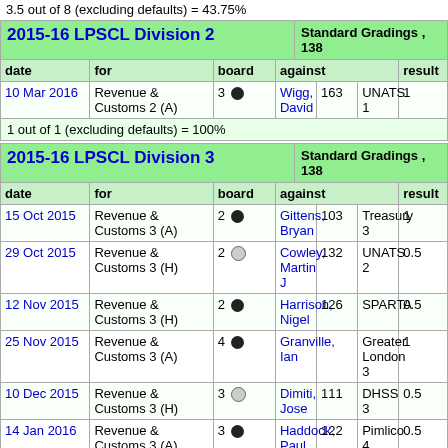3.5 out of 8 (excluding defaults) = 43.75%
2015-16 LPSCL Division 2
| date | for | board | against |  |  | result |
| --- | --- | --- | --- | --- | --- | --- |
| 10 Mar 2016 | Revenue & Customs 2 (A) | 3 ● | Wigg, David | 163 | UNATS 1 | 1 |
1 out of 1 (excluding defaults) = 100%
2015-16 LPSCL Division 3
| date | for | board | against |  |  | result |
| --- | --- | --- | --- | --- | --- | --- |
| 15 Oct 2015 | Revenue & Customs 3 (A) | 2 ● | Gittens, Bryan | 103 | Treasury 3 | 1 |
| 29 Oct 2015 | Revenue & Customs 3 (H) | 2 ○ | Cowley, Martin J | 132 | UNATS 2 | 0.5 |
| 12 Nov 2015 | Revenue & Customs 3 (H) | 2 ● | Harrison, Nigel | 126 | SPARTA | 0.5 |
| 25 Nov 2015 | Revenue & Customs 3 (A) | 4 ● | Granville, Ian |  | Greater London 3 | 1 |
| 10 Dec 2015 | Revenue & Customs 3 (H) | 3 ○ | Dimiti, Jose | 111 | DHSS 3 | 0.5 |
| 14 Jan 2016 | Revenue & Customs 3 (A) | 3 ● | Haddock, Paul | 122 | Pimlico 4 | 0.5 |
| 11 Feb | Revenue & | 1 ● | Gittens, Bryan | 111 | Treasury 3 | 1 |